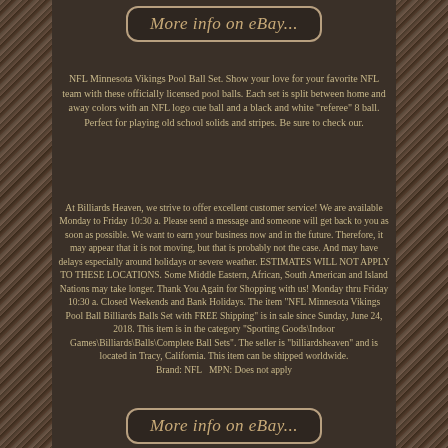[Figure (other): More info on eBay button - top]
NFL Minnesota Vikings Pool Ball Set. Show your love for your favorite NFL team with these officially licensed pool balls. Each set is split between home and away colors with an NFL logo cue ball and a black and white "referee" 8 ball. Perfect for playing old school solids and stripes. Be sure to check our.
At Billiards Heaven, we strive to offer excellent customer service! We are available Monday to Friday 10:30 a. Please send a message and someone will get back to you as soon as possible. We want to earn your business now and in the future. Therefore, it may appear that it is not moving, but that is probably not the case. And may have delays especially around holidays or severe weather. ESTIMATES WILL NOT APPLY TO THESE LOCATIONS. Some Middle Eastern, African, South American and Island Nations may take longer. Thank You Again for Shopping with us! Monday thru Friday 10:30 a. Closed Weekends and Bank Holidays. The item "NFL Minnesota Vikings Pool Ball Billiards Balls Set with FREE Shipping" is in sale since Sunday, June 24, 2018. This item is in the category "Sporting Goods\Indoor Games\Billiards\Balls\Complete Ball Sets". The seller is "billiardsheaven" and is located in Tracy, California. This item can be shipped worldwide. Brand: NFL MPN: Does not apply
[Figure (other): More info on eBay button - bottom]